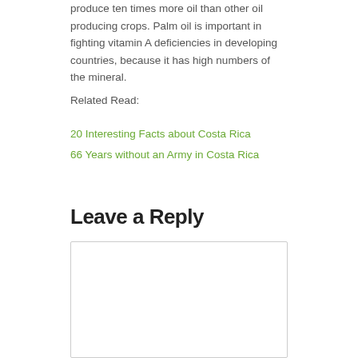produce ten times more oil than other oil producing crops. Palm oil is important in fighting vitamin A deficiencies in developing countries, because it has high numbers of the mineral.
Related Read:
20 Interesting Facts about Costa Rica
66 Years without an Army in Costa Rica
Leave a Reply